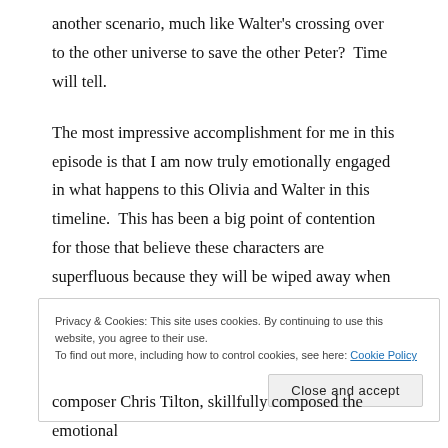another scenario, much like Walter's crossing over to the other universe to save the other Peter?  Time will tell.
The most impressive accomplishment for me in this episode is that I am now truly emotionally engaged in what happens to this Olivia and Walter in this timeline.  This has been a big point of contention for those that believe these characters are superfluous because they will be wiped away when things are set back to their proper places.  After the direction that has been laid out in these seven episodes it is clear something more amibitious is definitely in play.
Privacy & Cookies: This site uses cookies. By continuing to use this website, you agree to their use. To find out more, including how to control cookies, see here: Cookie Policy
Close and accept
composer Chris Tilton, skillfully composed the emotional